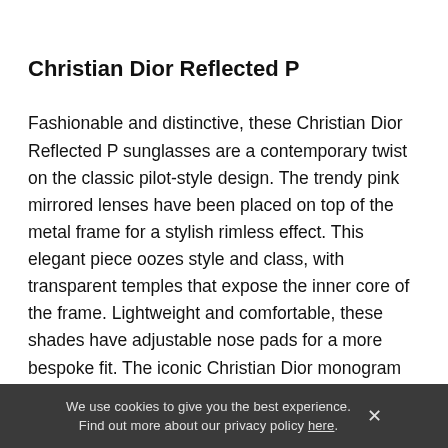Christian Dior Reflected P
Fashionable and distinctive, these Christian Dior Reflected P sunglasses are a contemporary twist on the classic pilot-style design. The trendy pink mirrored lenses have been placed on top of the metal frame for a stylish rimless effect. This elegant piece oozes style and class, with transparent temples that expose the inner core of the frame. Lightweight and comfortable, these shades have adjustable nose pads for a more bespoke fit. The iconic Christian Dior monogram has been etched on the temples and nose pads for a signature look. Store these fashionable designer sunglasses in their own branded case for added security and protection when
We use cookies to give you the best experience. Find out more about our privacy policy here.